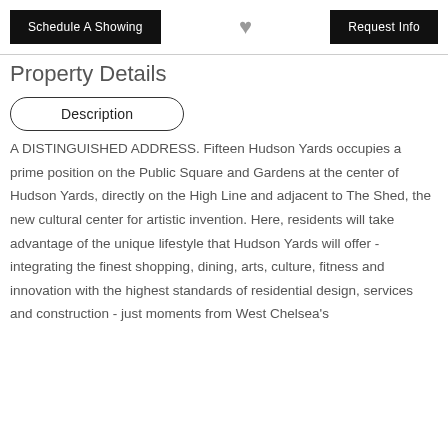Schedule A Showing | [heart] | Request Info
Property Details
Description
A DISTINGUISHED ADDRESS. Fifteen Hudson Yards occupies a prime position on the Public Square and Gardens at the center of Hudson Yards, directly on the High Line and adjacent to The Shed, the new cultural center for artistic invention. Here, residents will take advantage of the unique lifestyle that Hudson Yards will offer - integrating the finest shopping, dining, arts, culture, fitness and innovation with the highest standards of residential design, services and construction - just moments from West Chelsea's